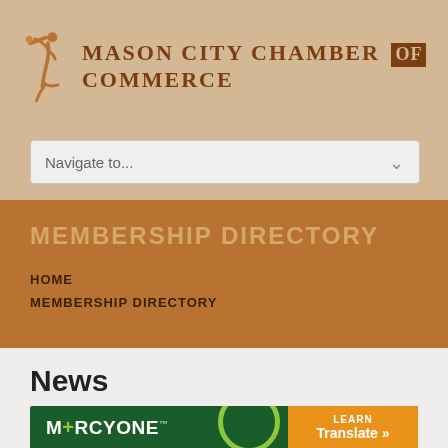[Figure (logo): Mason City Chamber of Commerce logo with stylized figure playing trumpet and text]
Navigate to...
MEMBERSHIP DIRECTORY
HOME
MEMBERSHIP DIRECTORY
News
[Figure (logo): MercyOne logo on green background with Learn / Translate button on right]